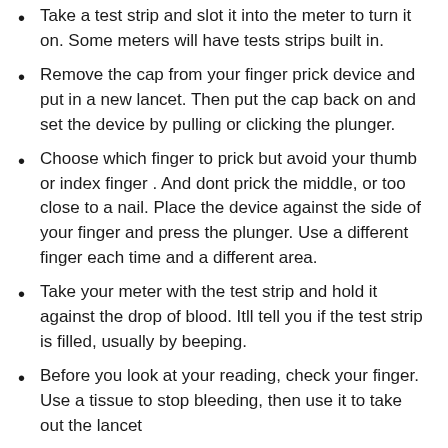Take a test strip and slot it into the meter to turn it on. Some meters will have tests strips built in.
Remove the cap from your finger prick device and put in a new lancet. Then put the cap back on and set the device by pulling or clicking the plunger.
Choose which finger to prick but avoid your thumb or index finger . And dont prick the middle, or too close to a nail. Place the device against the side of your finger and press the plunger. Use a different finger each time and a different area.
Take your meter with the test strip and hold it against the drop of blood. Itll tell you if the test strip is filled, usually by beeping.
Before you look at your reading, check your finger. Use a tissue to stop bleeding, then use it to take out the lancet